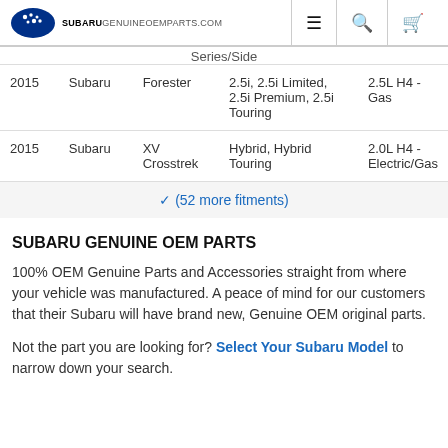SUBARUGENUINEOEMPARTS.COM
| Year | Make | Model | Series/Side | Engine |
| --- | --- | --- | --- | --- |
|  |  |  | Series/Side |  |
| 2015 | Subaru | Forester | 2.5i, 2.5i Limited, 2.5i Premium, 2.5i Touring | 2.5L H4 - Gas |
| 2015 | Subaru | XV Crosstrek | Hybrid, Hybrid Touring | 2.0L H4 - Electric/Gas |
✓ (52 more fitments)
SUBARU GENUINE OEM PARTS
100% OEM Genuine Parts and Accessories straight from where your vehicle was manufactured. A peace of mind for our customers that their Subaru will have brand new, Genuine OEM original parts.
Not the part you are looking for? Select Your Subaru Model to narrow down your search.